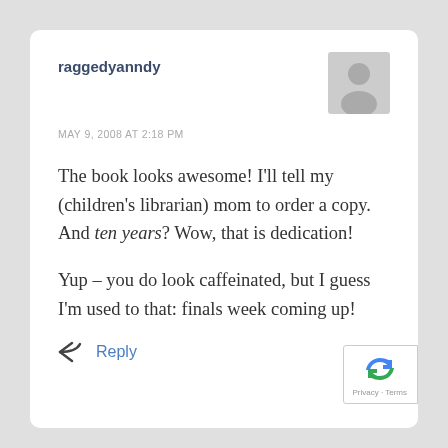raggedyanndy
MAY 9, 2008 AT 2:18 PM
The book looks awesome! I'll tell my (children's librarian) mom to order a copy. And ten years? Wow, that is dedication!

Yup – you do look caffeinated, but I guess I'm used to that: finals week coming up!
Reply